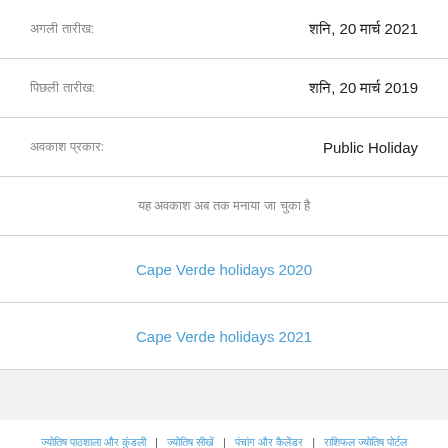| अगली तारीख: | शनि, 20 मार्च 2021 |
| पिछली तारीख: | शनि, 20 मार्च 2019 |
| अवकाश प्रकार: | Public Holiday |
| यह अवकाश अब तक मनाया जा चुका है |  |
| Cape Verde holidays 2020 |  |
| Cape Verde holidays 2021 |  |
ज्योतिष पाठशाला और कुंडली | ज्योतिष सीखें | पंचांग और कैलेंडर | राशिफल ज्योतिष पोर्टल | All copyrights reserved © 2022 AstroSage.com